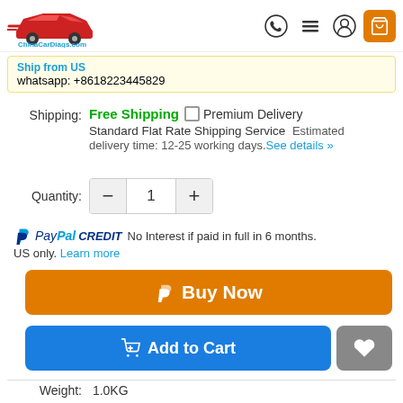[Figure (logo): ChinaCarDiags.com logo with red car silhouette]
Ship from US
whatsapp: +8618223445829
Shipping: Free Shipping  ☐ Premium Delivery
Standard Flat Rate Shipping Service  Estimated delivery time: 12-25 working days.See details »
Quantity: 1
PayPal CREDIT  No Interest if paid in full in 6 months. US only. Learn more
Buy Now
Add to Cart
Weight: 1.0KG
👍 76
Frequently bought together